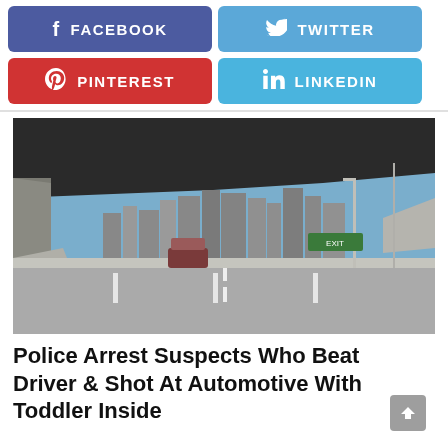[Figure (infographic): Four social media share buttons: Facebook (purple), Twitter (blue), Pinterest (red), LinkedIn (light blue)]
[Figure (photo): Highway scene with city skyline in background, taken from under an overpass, with lanes visible and a car ahead]
Police Arrest Suspects Who Beat Driver & Shot At Automotive With Toddler Inside